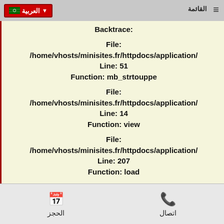العربية | القائمة
Backtrace:
File: /home/vhosts/minisites.fr/httpdocs/application/
Line: 51
Function: mb_strtouppe
File:
/home/vhosts/minisites.fr/httpdocs/application/
Line: 14
Function: view
File:
/home/vhosts/minisites.fr/httpdocs/application/
Line: 207
Function: load
File:
/home/vhosts/minisites.fr/httpdocs/application/
Line: 45
Function: commonFuncti
File: /home/vhosts/minisites.fr/httpdo
Line: 276
Function: require_once
الحجز | اتصال